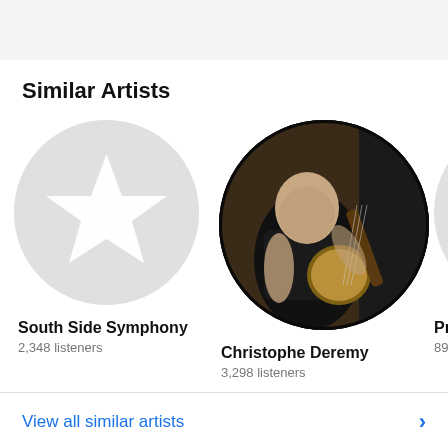Similar Artists
[Figure (illustration): Circular placeholder with a white star icon — South Side Symphony artist image]
South Side Symphony
2,348 listeners
[Figure (photo): Circular photo of a bald man playing a banjo in a room with musical equipment — Christophe Deremy artist image]
Christophe Deremy
3,298 listeners
[Figure (illustration): Partially visible circle placeholder (third artist, cropped) — Pray...]
Pray
890 l...
View all similar artists